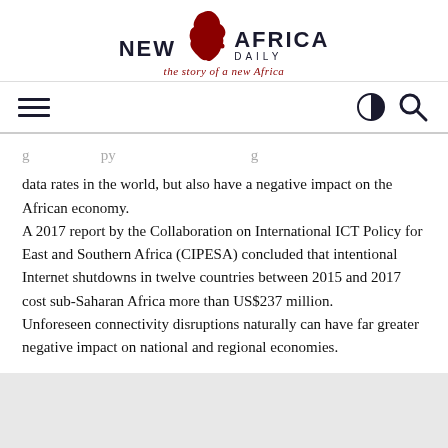[Figure (logo): New Africa Daily logo with Africa continent silhouette in dark red/maroon, text 'NEW AFRICA DAILY' and tagline 'the story of a new Africa' in red italic]
data rates in the world, but also have a negative impact on the African economy. A 2017 report by the Collaboration on International ICT Policy for East and Southern Africa (CIPESA) concluded that intentional Internet shutdowns in twelve countries between 2015 and 2017 cost sub-Saharan Africa more than US$237 million. Unforeseen connectivity disruptions naturally can have far greater negative impact on national and regional economies.